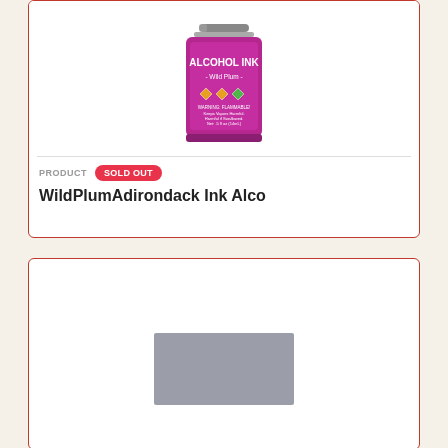[Figure (photo): Alcohol ink bottle with purple/magenta label reading 'ALCOHOL INK Wild Plum' with hazard symbols]
PRODUCT   SOLD OUT
WildPlumAdirondack Ink Alco
[Figure (photo): Gray placeholder rectangle on white background, second product card]